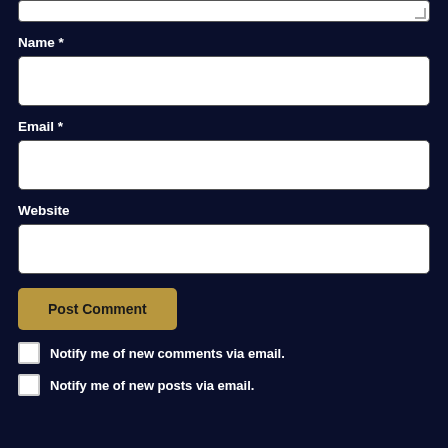[Figure (screenshot): Partial textarea input box at the top of the page (bottom portion visible with resize handle)]
Name *
[Figure (screenshot): Name input text field (empty, white background)]
Email *
[Figure (screenshot): Email input text field (empty, white background)]
Website
[Figure (screenshot): Website input text field (empty, white background)]
Post Comment
Notify me of new comments via email.
Notify me of new posts via email.